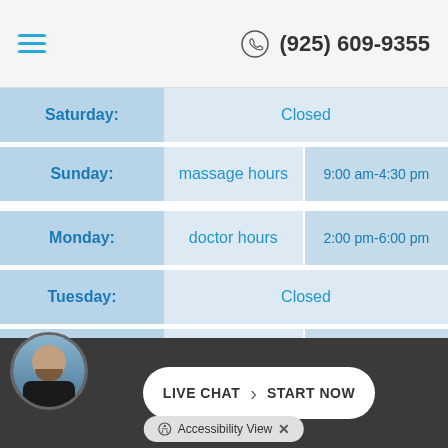(925) 609-9355
| Day | Type | Hours |
| --- | --- | --- |
| Saturday: | Closed |  |
| Sunday: | massage hours | 9:00 am-4:30 pm |
| Monday: | doctor hours | 2:00 pm-6:00 pm |
| Tuesday: | Closed |  |
| Wednesday: | doctor hours | 8:00 am-12:45 pm |
| Thursday: | doctor hours | 2:00 pm-6:00 pm |
| Friday: | doctor hours | 8:00 am-12:45 pm |
LIVE CHAT START NOW
Accessibility View